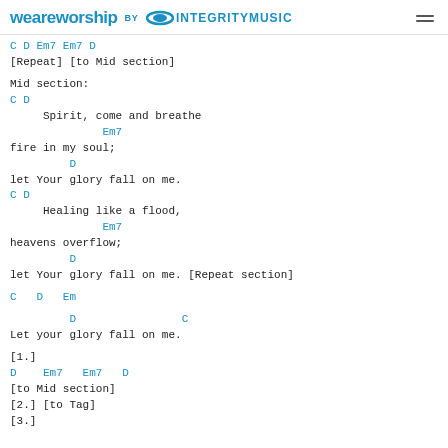weareworship BY INTEGRITYMUSIC
C    D     Em7   Em7   D
[Repeat] [to Mid section]

Mid section:
C                          D
     Spirit, come and breathe
              Em7
fire in my soul;
         D
let Your glory fall on me.
C                          D
     Healing like a flood,
              Em7
heavens overflow;
         D
let Your glory fall on me. [Repeat section]

C   D   Em

         D                C
Let your glory fall on me.

[1.]
D    Em7   Em7   D
[to Mid section]
[2.] [to Tag]
[3.]